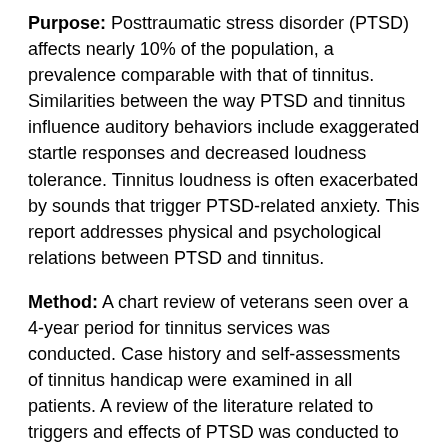Purpose: Posttraumatic stress disorder (PTSD) affects nearly 10% of the population, a prevalence comparable with that of tinnitus. Similarities between the way PTSD and tinnitus influence auditory behaviors include exaggerated startle responses and decreased loudness tolerance. Tinnitus loudness is often exacerbated by sounds that trigger PTSD-related anxiety. This report addresses physical and psychological relations between PTSD and tinnitus.
Method: A chart review of veterans seen over a 4-year period for tinnitus services was conducted. Case history and self-assessments of tinnitus handicap were examined in all patients. A review of the literature related to triggers and effects of PTSD was conducted to explore potential consequences related to the presence of PTSD in the Veterans Affairs Medical Center (VAMC) tinnitus population.
Results: Chart review confirmed that 34% of the first 300